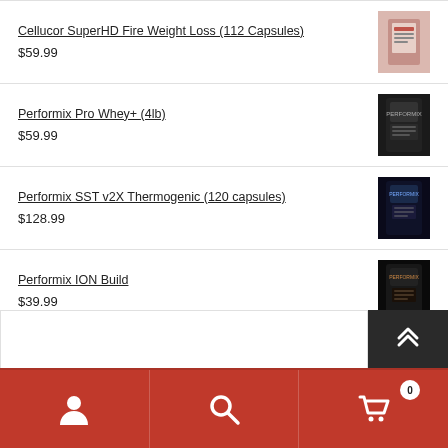Cellucor SuperHD Fire Weight Loss (112 Capsules)
$59.99
Performix Pro Whey+ (4lb)
$59.99
Performix SST v2X Thermogenic (120 capsules)
$128.99
Performix ION Build
$39.99
User | Search | Cart (0)